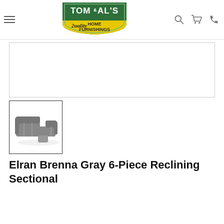[Figure (logo): Tom & Al's Quality Home Furnishings logo — green and yellow shield shape with store name]
[Figure (photo): Main product image area (blank/white) with border]
[Figure (photo): Thumbnail image of Elran Brenna Gray 6-Piece Reclining Sectional sofa, gray L-shaped sectional viewed from above]
Elran Brenna Gray 6-Piece Reclining Sectional